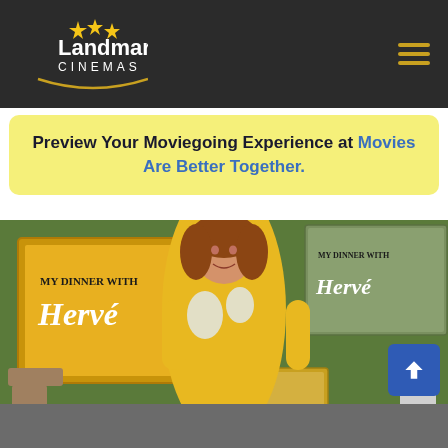Landmark Cinemas
Preview Your Moviegoing Experience at Movies Are Better Together.
[Figure (photo): Woman in yellow dress posing at a 'My Dinner with Hervé' event backdrop with multiple framed posters showing the movie title on a green wall]